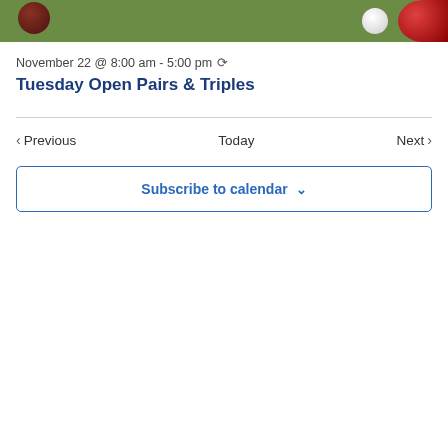[Figure (photo): Partial view of lawn bowls on green grass, showing red and white bowls]
November 22 @ 8:00 am - 5:00 pm ↻
Tuesday Open Pairs & Triples
◀ Previous   Today   Next ▶
Subscribe to calendar ∨